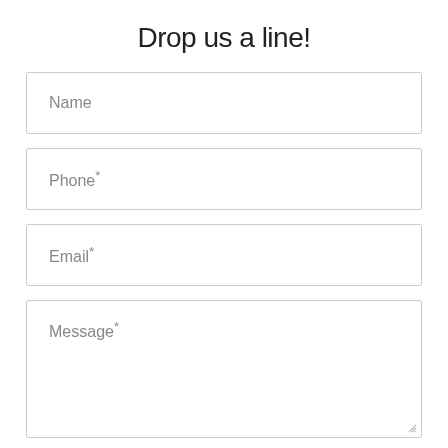Drop us a line!
Name
Phone*
Email*
Message*